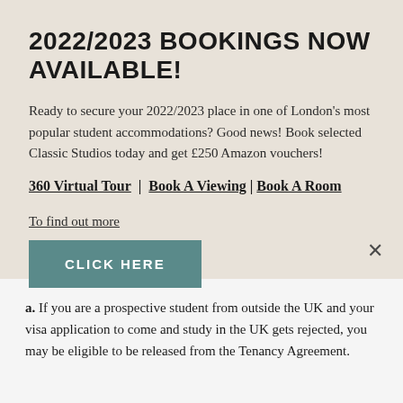2022/2023 BOOKINGS NOW AVAILABLE!
Ready to secure your 2022/2023 place in one of London's most popular student accommodations? Good news! Book selected Classic Studios today and get £250 Amazon vouchers!
360 Virtual Tour | Book A Viewing | Book A Room
To find out more
CLICK HERE
a. If you are a prospective student from outside the UK and your visa application to come and study in the UK gets rejected, you may be eligible to be released from the Tenancy Agreement.